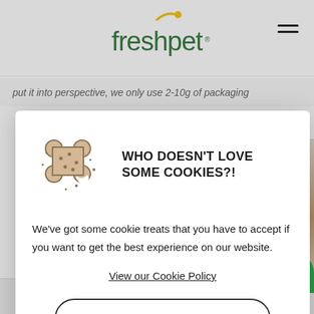[Figure (logo): Freshpet logo with green text and yellow sun arc above the 'h']
put it into perspective, we only use 2-10g of packaging
WHO DOESN'T LOVE SOME COOKIES?!
We've got some cookie treats that you have to accept if you want to get the best experience on our website.
View our Cookie Policy
ACCEPT